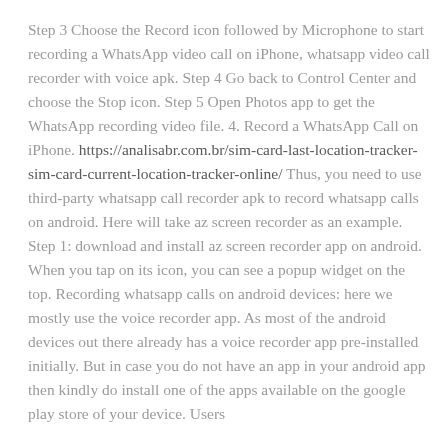Step 3 Choose the Record icon followed by Microphone to start recording a WhatsApp video call on iPhone, whatsapp video call recorder with voice apk. Step 4 Go back to Control Center and choose the Stop icon. Step 5 Open Photos app to get the WhatsApp recording video file. 4. Record a WhatsApp Call on iPhone. https://analisabr.com.br/sim-card-last-location-tracker-sim-card-current-location-tracker-online/ Thus, you need to use third-party whatsapp call recorder apk to record whatsapp calls on android. Here will take az screen recorder as an example. Step 1: download and install az screen recorder app on android. When you tap on its icon, you can see a popup widget on the top. Recording whatsapp calls on android devices: here we mostly use the voice recorder app. As most of the android devices out there already has a voice recorder app pre-installed initially. But in case you do not have an app in your android app then kindly do install one of the apps available on the google play store of your device. Users